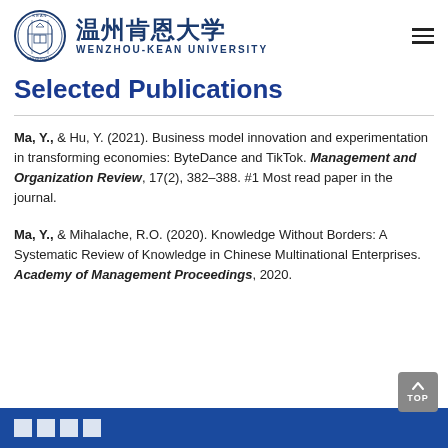温州肯恩大学 WENZHOU-KEAN UNIVERSITY
Selected Publications
Ma, Y., & Hu, Y. (2021). Business model innovation and experimentation in transforming economies: ByteDance and TikTok. Management and Organization Review, 17(2), 382–388. #1 Most read paper in the journal.
Ma, Y., & Mihalache, R.O. (2020). Knowledge Without Borders: A Systematic Review of Knowledge in Chinese Multinational Enterprises. Academy of Management Proceedings, 2020.